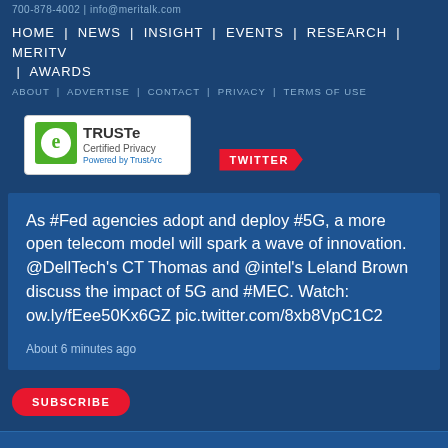HOME | NEWS | INSIGHT | EVENTS | RESEARCH | MERITV | AWARDS
ABOUT | ADVERTISE | CONTACT | PRIVACY | TERMS OF USE
[Figure (logo): TRUSTe Certified Privacy Powered by TrustArc badge]
TWITTER
As #Fed agencies adopt and deploy #5G, a more open telecom model will spark a wave of innovation. @DellTech’s CT Thomas and @intel’s Leland Brown discuss the impact of 5G and #MEC. Watch: ow.ly/fEee50Kx6GZ pic.twitter.com/8xb8VpC1C2
About 6 minutes ago
SUBSCRIBE